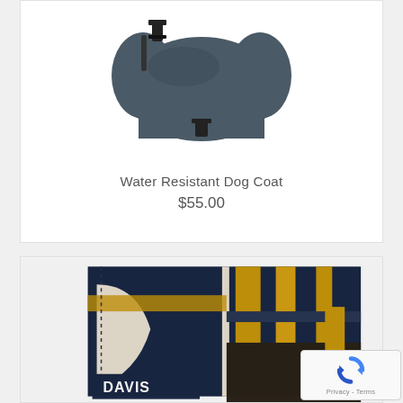[Figure (photo): Product photo of a dark navy/grey Water Resistant Dog Coat with black buckle straps, shown from above on white background]
Water Resistant Dog Coat
$55.00
[Figure (photo): Close-up product photo of a navy blue and gold/yellow striped bag or tote with white accents and 'DAVIS' text visible at bottom, stitched panels visible]
[Figure (other): reCAPTCHA badge with rotating arrows icon and 'Privacy - Terms' text]